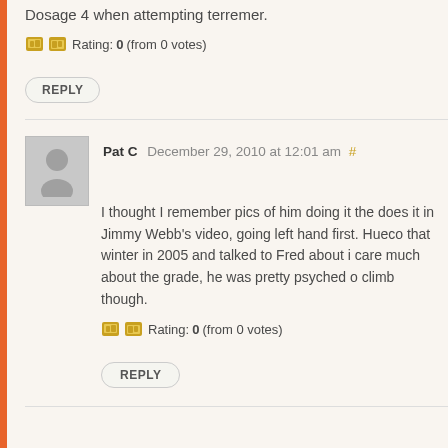Dosage 4 when attempting terremer.
Rating: 0 (from 0 votes)
REPLY
Pat C December 29, 2010 at 12:01 am #
I thought I remember pics of him doing it the does it in Jimmy Webb's video, going left hand first. Hueco that winter in 2005 and talked to Fred about i care much about the grade, he was pretty psyched o climb though.
Rating: 0 (from 0 votes)
REPLY